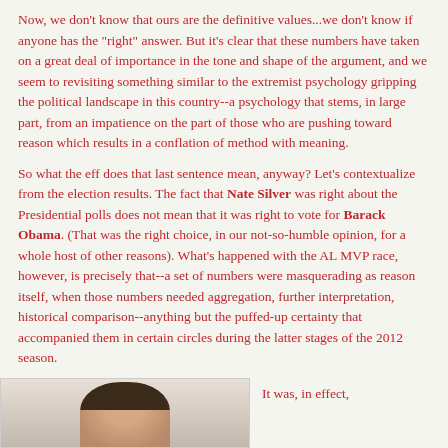Now, we don't know that ours are the definitive values...we don't know if anyone has the "right" answer. But it's clear that these numbers have taken on a great deal of importance in the tone and shape of the argument, and we seem to revisiting something similar to the extremist psychology gripping the political landscape in this country--a psychology that stems, in large part, from an impatience on the part of those who are pushing toward reason which results in a conflation of method with meaning.
So what the eff does that last sentence mean, anyway? Let's contextualize from the election results. The fact that Nate Silver was right about the Presidential polls does not mean that it was right to vote for Barack Obama. (That was the right choice, in our not-so-humble opinion, for a whole host of other reasons). What's happened with the AL MVP race, however, is precisely that--a set of numbers were masquerading as reason itself, when those numbers needed aggregation, further interpretation, historical comparison--anything but the puffed-up certainty that accompanied them in certain circles during the latter stages of the 2012 season.
[Figure (photo): Partial photo of a person, cropped at bottom of page, showing top of head/face]
It was, in effect,